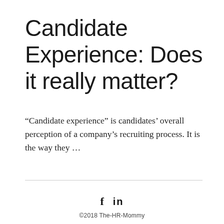Candidate Experience: Does it really matter?
“Candidate experience” is candidates’ overall perception of a company’s recruiting process. It is the way they …
[Figure (other): Horizontal divider line]
[Figure (other): Social media icons: Facebook (f) and LinkedIn (in)]
©2018 The-HR-Mommy